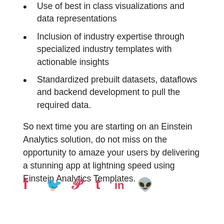Use of best in class visualizations and data representations
Inclusion of industry expertise through specialized industry templates with actionable insights
Standardized prebuilt datasets, dataflows and backend development to pull the required data.
So next time you are starting on an Einstein Analytics solution, do not miss on the opportunity to amaze your users by delivering a stunning app at lightning speed using Einstein Analytics Templates.
[Figure (infographic): Social media share icons row: Facebook (f), Twitter (bird), Pinterest (P), Tumblr (t), LinkedIn (in), Reddit (alien) — all in pink/crimson color]